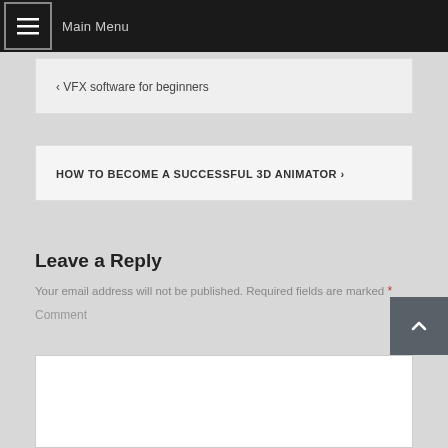Main Menu
< VFX software for beginners
HOW TO BECOME A SUCCESSFUL 3D ANIMATOR >
Leave a Reply
Your email address will not be published. Required fields are marked *
Comment